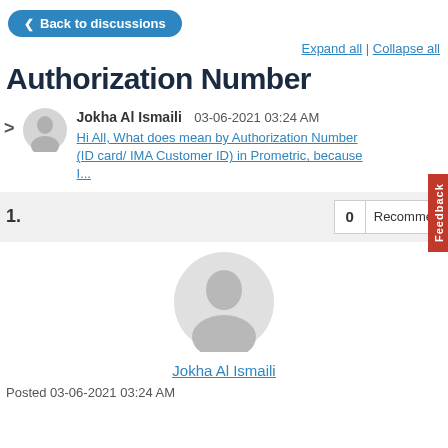Back to discussions
Expand all | Collapse all
Authorization Number
Jokha Al Ismaili  03-06-2021 03:24 AM
Hi All, What does mean by Authorization Number (ID card/ IMA Customer ID) in Prometric, because I...
1.   0   Recommend
[Figure (illustration): Large default user avatar silhouette in gray]
Jokha Al Ismaili
Posted 03-06-2021 03:24 AM